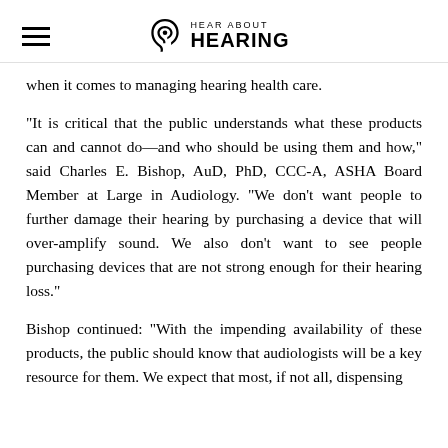HEAR ABOUT HEARING
when it comes to managing hearing health care.
"It is critical that the public understands what these products can and cannot do—and who should be using them and how," said Charles E. Bishop, AuD, PhD, CCC-A, ASHA Board Member at Large in Audiology. "We don't want people to further damage their hearing by purchasing a device that will over-amplify sound. We also don't want to see people purchasing devices that are not strong enough for their hearing loss."
Bishop continued: "With the impending availability of these products, the public should know that audiologists will be a key resource for them. We expect that most, if not all, dispensing audiologists will be offering these products to the